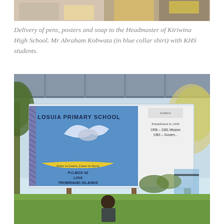[Figure (photo): Top portion of a photo showing people at Kiriwina High School, cropped at top of page]
Delivery of pens, posters and soap to the Headmaster of Kiriwina High School. Mr Abraham Kobwata (in blue collar shirt) with KHS students.
[Figure (photo): Photo of a sign for Losuia Primary School with text 'Enter to Learn, Leave to Serve', P.O. Box 42, Losuia, Trobriand Islands. Established in 1956. A man stands beneath the sign.]